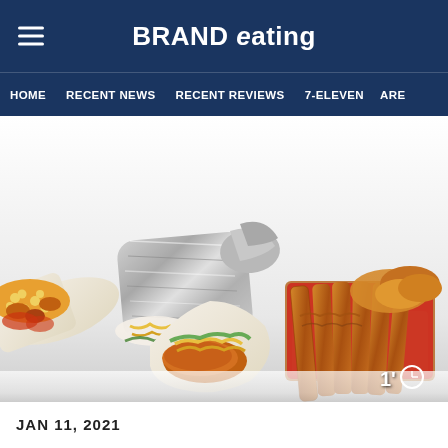BRAND Eating
HOME  RECENT NEWS  RECENT REVIEWS  7-ELEVEN  ARE
[Figure (photo): Food items including a foil-wrapped burrito, a taco with cheese and lettuce, a burrito/wrap with corn and chicken, and a tray of churros or similar fried sticks with sauce, on a white background. Timer overlay showing '1' and a clock icon in bottom right.]
JAN 11, 2021